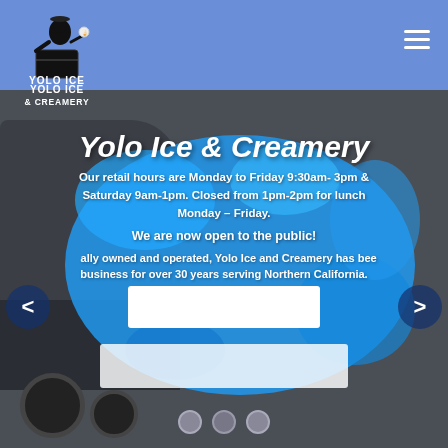[Figure (logo): Yolo Ice & Creamery logo with penguin/figure sitting on ice block, black and white illustration with 'YOLO ICE & CREAMERY' text below]
Yolo Ice & Creamery
Our retail hours are Monday to Friday 9:30am- 3pm & Saturday 9am-1pm. Closed from 1pm-2pm for lunch Monday – Friday.
We are now open to the public!
locally owned and operated, Yolo Ice and Creamery has been in business for over 30 years serving Northern California.
[Figure (screenshot): Website screenshot showing Yolo Ice & Creamery homepage with blue splash background, navigation arrows, two white content boxes, and three navigation dots at bottom]